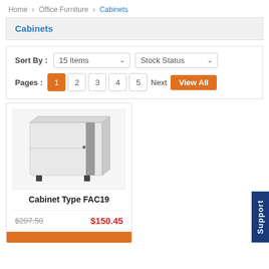Home > Office Furniture > Cabinets
Cabinets
Sort By : 15 Items  Stock Status  Pages : 1 2 3 4 5 Next View All
[Figure (photo): White office cabinet product photo, Cabinet Type FAC19]
Cabinet Type FAC19
$207.50   $150.45
Support